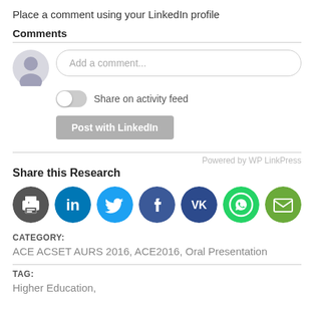Place a comment using your LinkedIn profile
Comments
[Figure (screenshot): LinkedIn comment UI with avatar placeholder, 'Add a comment...' input field, Share on activity feed toggle, and Post with LinkedIn button]
Powered by WP LinkPress
Share this Research
[Figure (infographic): Row of social media icons: print, LinkedIn, Twitter, Facebook, VK, WhatsApp, email]
CATEGORY:
ACE ACSET AURS 2016, ACE2016, Oral Presentation
TAG:
Higher Education,